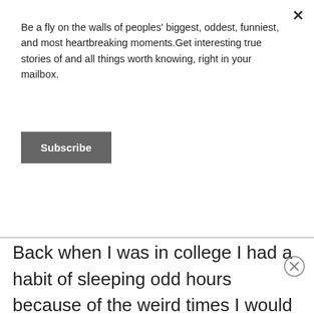Be a fly on the walls of peoples' biggest, oddest, funniest, and most heartbreaking moments.Get interesting true stories of and all things worth knowing, right in your mailbox.
Subscribe
Back when I was in college I had a habit of sleeping odd hours because of the weird times I would do my homework in. I would go in around 7 in the morning and then come back around 1/3/5 and promptly pass out on the couch/my bed to take a nap. I got a lot of grief from my mother from napping too much (and I still don't car, so there's that).
At the time of the story I had been feeling under the...